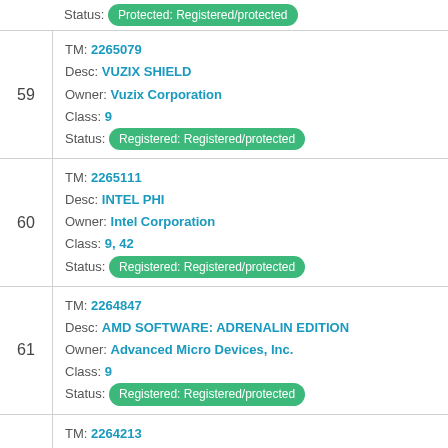Status: Protected: Registered/protected
TM: 2265079 | Desc: VUZIX SHIELD | Owner: Vuzix Corporation | Class: 9 | Status: Registered: Registered/protected
TM: 2265111 | Desc: INTEL PHI | Owner: Intel Corporation | Class: 9, 42 | Status: Registered: Registered/protected
TM: 2264847 | Desc: AMD SOFTWARE: ADRENALIN EDITION | Owner: Advanced Micro Devices, Inc. | Class: 9 | Status: Registered: Registered/protected
TM: 2264213 | Desc: PIXEL WATCH | Owner: Google LLC | Class: 9 | Status: Registered: Registered/protected